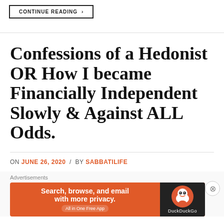CONTINUE READING →
Confessions of a Hedonist OR How I became Financially Independent Slowly & Against ALL Odds.
ON JUNE 26, 2020 / BY SABBATILIFE
Advertisements
[Figure (other): DuckDuckGo advertisement banner: 'Search, browse, and email with more privacy. All in One Free App' on orange background with DuckDuckGo logo on dark background.]